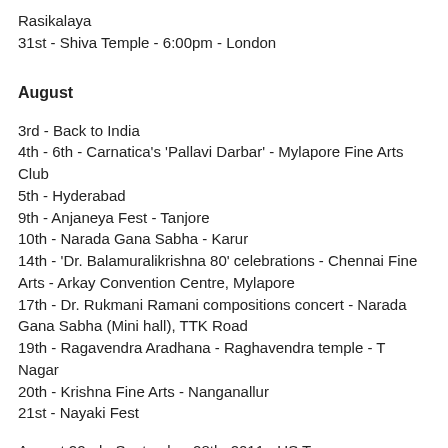Rasikalaya
31st - Shiva Temple - 6:00pm - London
August
3rd - Back to India
4th - 6th - Carnatica's 'Pallavi Darbar' - Mylapore Fine Arts Club
5th - Hyderabad
9th - Anjaneya Fest - Tanjore
10th - Narada Gana Sabha - Karur
14th - 'Dr. Balamuralikrishna 80' celebrations - Chennai Fine Arts - Arkay Convention Centre, Mylapore
17th - Dr. Rukmani Ramani compositions concert - Narada Gana Sabha (Mini hall), TTK Road
19th - Ragavendra Aradhana - Raghavendra temple - T Nagar
20th - Krishna Fine Arts - Nanganallur
21st - Nayaki Fest
August 22nd - September 28th, 2011 - US Tour
27th & 28th - Sringeri Vidya Bharati Foundation -Contest &